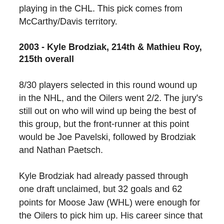playing in the CHL. This pick comes from McCarthy/Davis territory.
2003 - Kyle Brodziak, 214th & Mathieu Roy, 215th overall
8/30 players selected in this round wound up in the NHL, and the Oilers went 2/2. The jury's still out on who will wind up being the best of this group, but the front-runner at this point would be Joe Pavelski, followed by Brodziak and Nathan Paetsch.
Kyle Brodziak had already passed through one draft unclaimed, but 32 goals and 62 points for Moose Jaw (WHL) were enough for the Oilers to pick him up. His career since that point has been on an upward swing without let-up, and right now he looks like a solid bet to